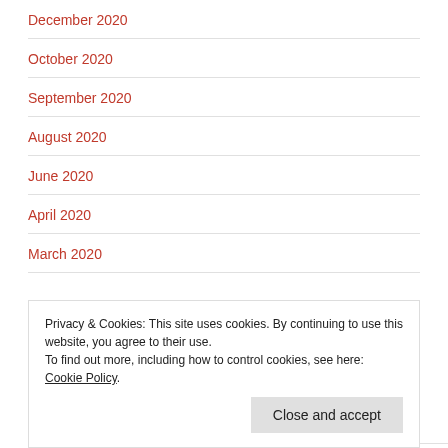December 2020
October 2020
September 2020
August 2020
June 2020
April 2020
March 2020
Privacy & Cookies: This site uses cookies. By continuing to use this website, you agree to their use.
To find out more, including how to control cookies, see here: Cookie Policy
June 2019